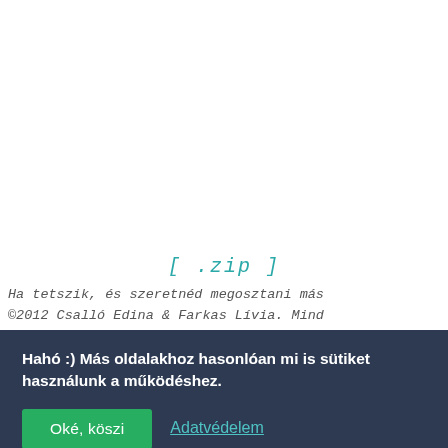[ .zip ]
Ha tetszik, és szeretnéd megosztani más…
©2012 Csalló Edina & Farkas Lívia. Mindk…
Hahó :) Más oldalakhoz hasonlóan mi is sütiket használunk a működéshez.
Oké, köszi
Adatvédelem